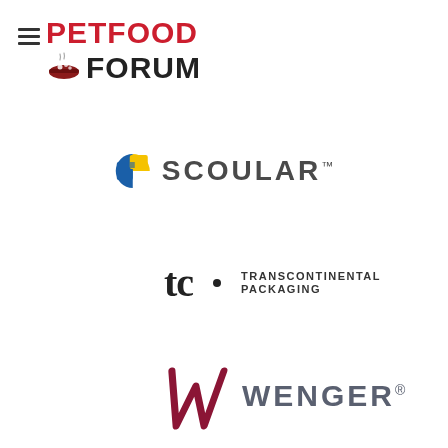[Figure (logo): Petfood Forum logo with hamburger menu icon, red PETFOOD text, bowl icon, and black FORUM text]
[Figure (logo): Scoular logo with colorful S icon and SCOULAR text with trademark symbol]
[Figure (logo): TC Transcontinental Packaging logo with tc lettering, dot, and TRANSCONTINENTAL PACKAGING text]
[Figure (logo): Wenger logo with stylized italic W mark in dark red and WENGER text with registered trademark symbol in grey]